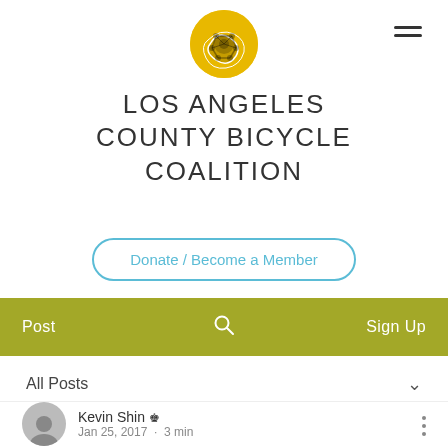[Figure (logo): Los Angeles County Bicycle Coalition circular logo with bicycle chain/map on yellow background]
LOS ANGELES COUNTY BICYCLE COALITION
Donate / Become a Member
Post  🔍  Sign Up
All Posts
Kevin Shin 👑 Jan 25, 2017 · 3 min
Intern Profile: Bryony van